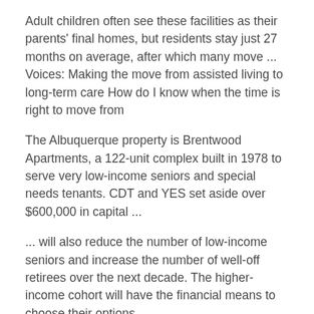Adult children often see these facilities as their parents' final homes, but residents stay just 27 months on average, after which many move ... Voices: Making the move from assisted living to long-term care How do I know when the time is right to move from
The Albuquerque property is Brentwood Apartments, a 122-unit complex built in 1978 to serve very low-income seniors and special needs tenants. CDT and YES set aside over $600,000 in capital ...
... will also reduce the number of low-income seniors and increase the number of well-off retirees over the next decade. The higher-income cohort will have the financial means to choose their options ...
Low Income Housing Apartments for Rent in Albuquerque, NM . If you're looking for apartments for rent in Albuquerque, you're in good company; more and more people are discovering the many perks of this historic city and packing up for a move to the